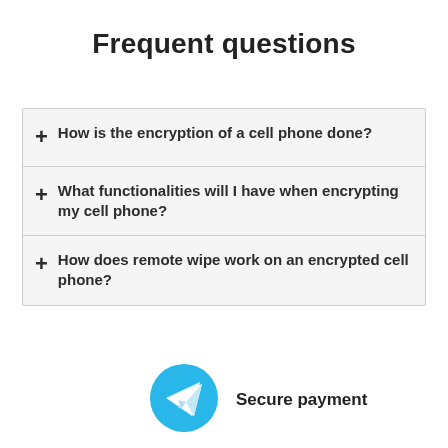Frequent questions
How is the encryption of a cell phone done?
What functionalities will I have when encrypting my cell phone?
How does remote wipe work on an encrypted cell phone?
[Figure (logo): Telegram-style paper plane icon in a blue circle]
Secure payment